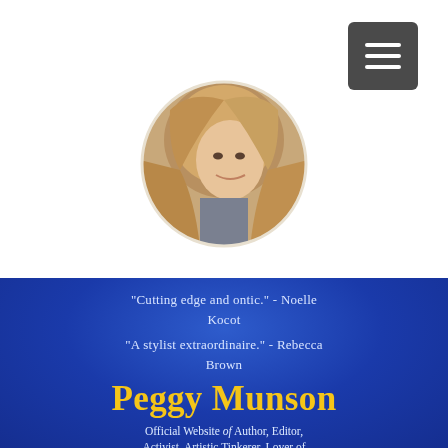[Figure (photo): Circular profile photo of a woman with long blonde hair, smiling]
"Cutting edge and ontic." - Noelle Kocot
"A stylist extraordinaire." - Rebecca Brown
Peggy Munson
Official Website of Author, Editor, Activist, Artistic Tinkerer, Lover of